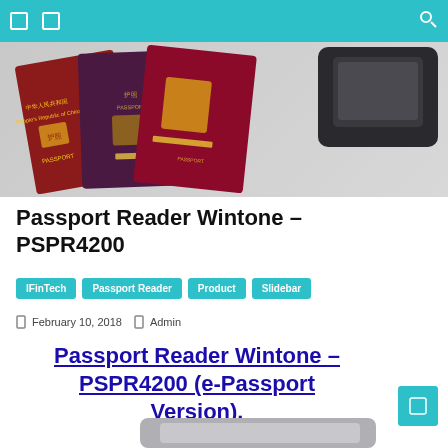[Figure (photo): Product photo showing multiple passports (Chinese, UK, and other country passports) stacked together, alongside a dark-colored passport/card reader device]
Passport Reader Wintone – PSPR4200
IFinTech  Passport Reader  Product  Slidebar
February 10, 2018  Admin
Passport Reader Wintone – PSPR4200 (e-Passport Version).
[Figure (photo): Bottom edge of a passport reader device peeking at the bottom of the page]